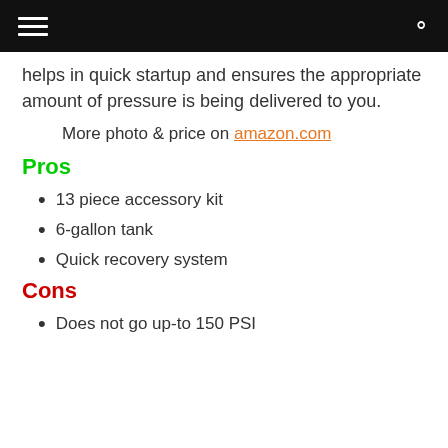helps in quick startup and ensures the appropriate amount of pressure is being delivered to you.
More photo & price on amazon.com
Pros
13 piece accessory kit
6-gallon tank
Quick recovery system
Cons
Does not go up-to 150 PSI